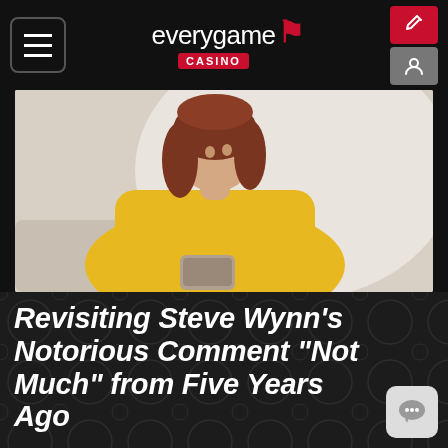everygame CASINO
[Figure (photo): A smiling woman with red hair wearing a yellow blouse, looking down at a smartphone she holds in both hands. Bright, light background.]
Revisiting Steve Wynn’s Notorious Comment “Not Much” from Five Years Ago